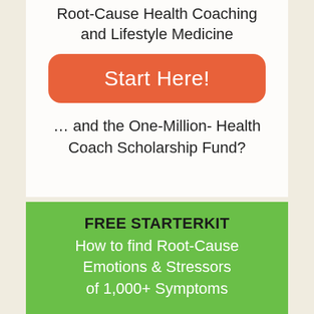Root-Cause Health Coaching and Lifestyle Medicine
[Figure (other): Orange rounded button with white text reading 'Start Here!']
… and the One-Million- Health Coach Scholarship Fund?
FREE STARTERKIT How to find Root-Cause Emotions & Stressors of 1,000+ Symptoms